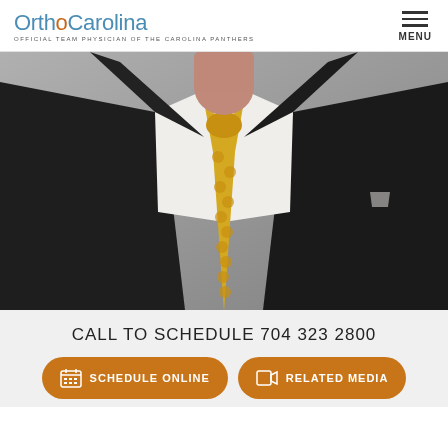OrthoCarolina — OFFICIAL TEAM PHYSICIAN OF THE CAROLINA PANTHERS
[Figure (photo): Cropped photo of a man in a dark suit jacket with a white dress shirt and yellow patterned tie, from neck to waist, gray background.]
CALL TO SCHEDULE 704 323 2800
SCHEDULE ONLINE
RELATED MEDIA